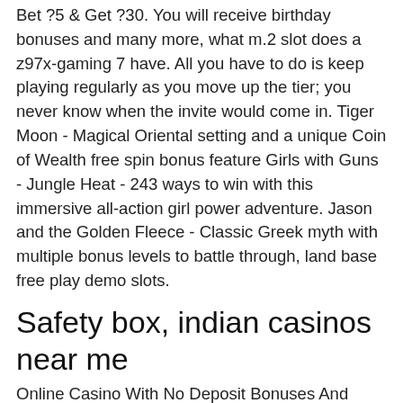Bet ?5 & Get ?30. You will receive birthday bonuses and many more, what m.2 slot does a z97x-gaming 7 have. All you have to do is keep playing regularly as you move up the tier; you never know when the invite would come in. Tiger Moon - Magical Oriental setting and a unique Coin of Wealth free spin bonus feature Girls with Guns - Jungle Heat - 243 ways to win with this immersive all-action girl power adventure. Jason and the Golden Fleece - Classic Greek myth with multiple bonus levels to battle through, land base free play demo slots.
Safety box, indian casinos near me
Online Casino With No Deposit Bonuses And Online Slots Mvm Group Casino. The 100 free spins can only be used on the Narcos slot game and are offered as 20 free spins per day for five days, offer a nostalgic. View